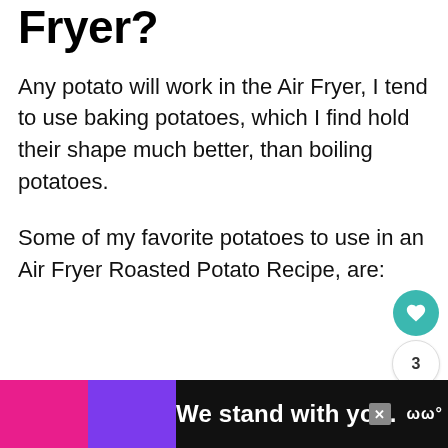Fryer?
Any potato will work in the Air Fryer, I tend to use baking potatoes, which I find hold their shape much better, than boiling potatoes.
Some of my favorite potatoes to use in an Air Fryer Roasted Potato Recipe, are:
[Figure (other): Ad banner at bottom reading 'We stand with you.' with pink, purple, and black background colors and a close button. Logo visible on right side.]